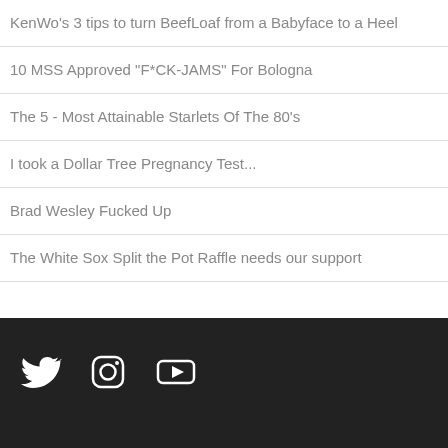KenWo's 3 tips to turn BeefLoaf from a Babyface to a Heel
10 MSS Approved "F*CK-JAMS" For Bologna
The 5 - Most Attainable Starlets Of The 80's
I took a Dollar Tree Pregnancy Test...
Brad Wesley Fucked Up
The White Sox Split the Pot Raffle needs our support
Social icons: Twitter, Instagram, YouTube